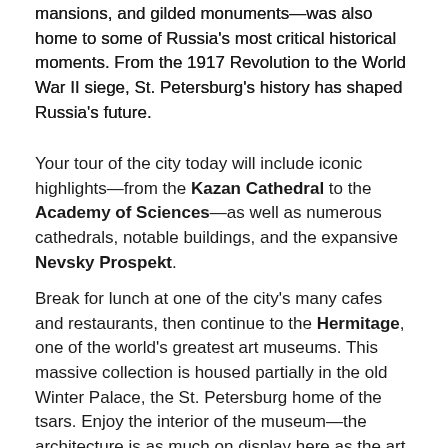mansions, and gilded monuments—was also home to some of Russia's most critical historical moments. From the 1917 Revolution to the World War II siege, St. Petersburg's history has shaped Russia's future.
Your tour of the city today will include iconic highlights—from the Kazan Cathedral to the Academy of Sciences—as well as numerous cathedrals, notable buildings, and the expansive Nevsky Prospekt.
Break for lunch at one of the city's many cafes and restaurants, then continue to the Hermitage, one of the world's greatest art museums. This massive collection is housed partially in the old Winter Palace, the St. Petersburg home of the tsars. Enjoy the interior of the museum—the architecture is as much on display here as the art itself.
Day 12: St. Petersburg - Free Day
[Figure (photo): Bottom strip showing a gold/amber colored architectural detail or building exterior, partially visible at the bottom of the page.]